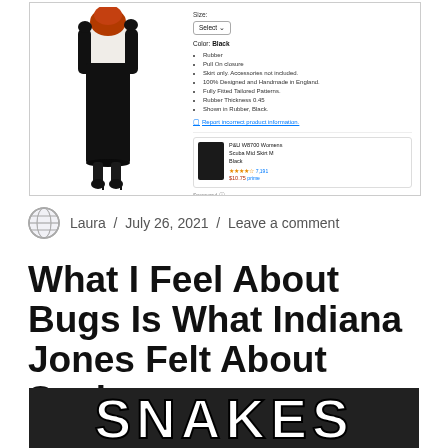[Figure (screenshot): Amazon product listing screenshot showing a black latex/rubber pencil skirt with a model wearing it. Right side shows size selector, color (Black), bullet point features (Rubber, Pull On closure, Skirt only accessories not included, 100% Designed and Handmade in England, Fully Fitted Tailored Patterns, Rubber Thickness 0.45, Shown in Rubber Black), a report incorrect product information link, and a sponsored product advertisement for P&U W8700 Womens Scuba Mid Skirt in Black.]
Laura / July 26, 2021 / Leave a comment
What I Feel About Bugs Is What Indiana Jones Felt About Snakes:
[Figure (photo): Dark background image with large bold white text reading SNAKES, partially cropped at the bottom of the page.]